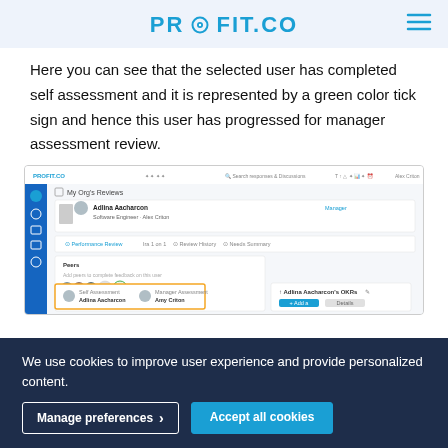PROFIT.CO
Here you can see that the selected user has completed self assessment and it is represented by a green color tick sign and hence this user has progressed for manager assessment review.
[Figure (screenshot): Screenshot of the Profit.co web application showing 'My Org's Reviews' interface with user Adlina Aacharcon listed as Software Engineer, tabs for Performance Review, 1 on 1, Review History, and Needs Summary, along with a Peers section and OKRs panel.]
We use cookies to improve user experience and provide personalized content.
Manage preferences  Accept all cookies